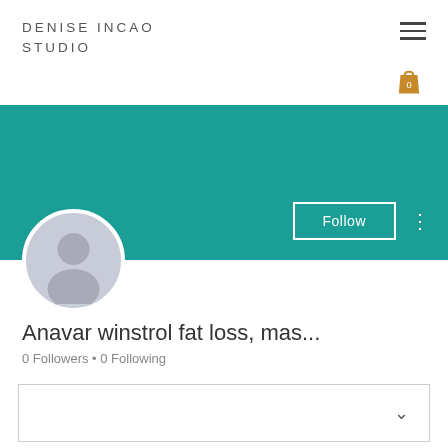DENISE INCAO STUDIO
[Figure (illustration): Teal banner with Follow button and three-dot menu, default profile avatar]
Anavar winstrol fat loss, mas...
0 Followers • 0 Following
[Figure (other): Dropdown selector box with chevron]
Profile
Join date: Jun 21, 2022